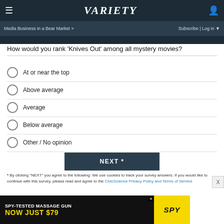VARIETY | Media Business in a Bear Market > | Subscribe | Log in
How would you rank 'Knives Out' among all mystery movies?
At or near the top
Above average
Average
Below average
Other / No opinion
NEXT *
* By clicking "NEXT" you agree to the following: We use cookies to track your survey answers. If you would like to continue with this survey, please read and agree to the CivicScience Privacy Policy and Terms of Service
[Figure (other): Advertisement banner: SPY-TESTED MASSAGE GUN NOW JUST $79 with SPY logo on yellow background]